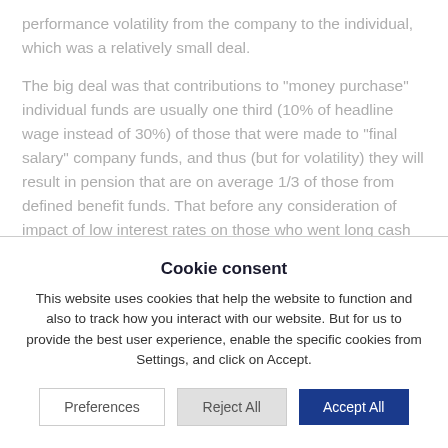performance volatility from the company to the individual, which was a relatively small deal.
The big deal was that contributions to "money purchase" individual funds are usually one third (10% of headline wage instead of 30%) of those that were made to "final salary" company funds, and thus (but for volatility) they will result in pension that are on average 1/3 of those from defined benefit funds. That before any consideration of impact of low interest rates on those who went long cash or long property/shares.
The other point is that there are attempts to
Cookie consent
This website uses cookies that help the website to function and also to track how you interact with our website. But for us to provide the best user experience, enable the specific cookies from Settings, and click on Accept.